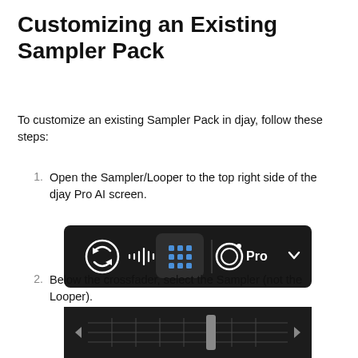Customizing an Existing Sampler Pack
To customize an existing Sampler Pack in djay, follow these steps:
1. Open the Sampler/Looper to the top right side of the djay Pro AI screen.
[Figure (screenshot): Dark toolbar showing icons: circular arrows icon, waveform icon, a highlighted blue 3x3 grid icon, and a circular play icon labeled 'Pro' with a dropdown arrow.]
2. Below the crossfader, select the Sampler (not the Looper).
[Figure (screenshot): Dark crossfader panel showing a horizontal slider control with left and right arrow buttons on each end and a central fader knob positioned to the right of center.]